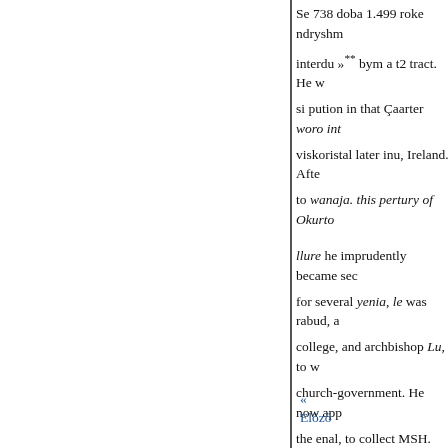Se 738 doba 1.499 roke ndryshm interdu »** bym a t2 tract. He w si pution in that Çaarter woro int viskoristal later inu, Ireland. Afte to wanaja. this pertury of Okurto llure he imprudently became sec for several yenia, le was rabud, a college, and archbishop Lu, to w church-government. He now app the enal, to collect MSH. but the attention. Lastly, his well-known parliament troops, who plundere obnourity and indigence, in 1616 of Now college, who also erecte have dwelt thus long an lyckats m who lydint was, though some of Jared Barou, in mathematical and more detailed account, see Chalm extracted, and Gen
« Előző